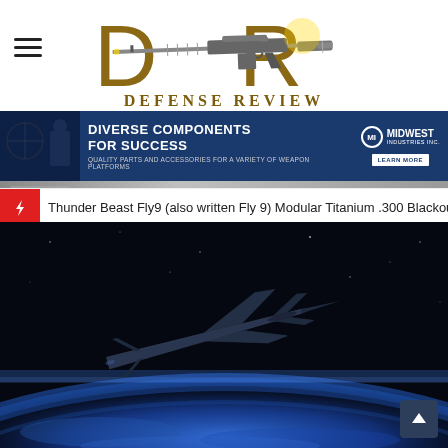[Figure (logo): Defense Review logo with stylized DR letters in gold/brown and a rifle across the letters, with 'DEFENSE REVIEW' text below]
[Figure (infographic): Midwest Industries Inc. advertisement banner: 'DIVERSE COMPONENTS FOR SUCCESS — Quality parts and accessories for a variety of weapon platforms' with LEARN MORE button]
Thunder Beast Fly9 (also written Fly 9) Modular Titanium .300 Blackout (.300
[Figure (illustration): Dark artistic rendering of a sleek hypersonic aircraft or stealth drone flying above the Earth's curvature in space, with deep blue and black tones]